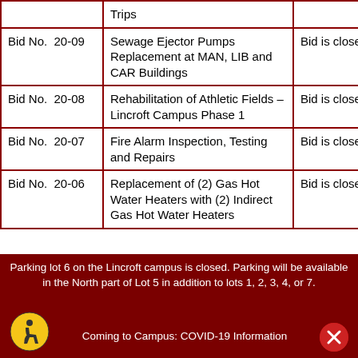|  | Trips |  |
| --- | --- | --- |
| Bid No. 20-09 | Sewage Ejector Pumps Replacement at MAN, LIB and CAR Buildings | Bid is closed. |
| Bid No. 20-08 | Rehabilitation of Athletic Fields – Lincroft Campus Phase 1 | Bid is closed. |
| Bid No. 20-07 | Fire Alarm Inspection, Testing and Repairs | Bid is closed. |
| Bid No. 20-06 | Replacement of (2) Gas Hot Water Heaters with (2) Indirect Gas Hot Water Heaters | Bid is closed. |
Parking lot 6 on the Lincroft campus is closed. Parking will be available in the North part of Lot 5 in addition to lots 1, 2, 3, 4, or 7.
Coming to Campus: COVID-19 Information